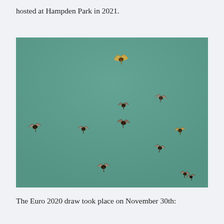hosted at Hampden Park in 2021.
[Figure (photo): Photograph of multiple birds (pigeons/starlings) in flight against a teal/muted green sky. Approximately 10-11 birds are scattered across the frame at various positions and angles, photographed from below looking upward.]
The Euro 2020 draw took place on November 30th: